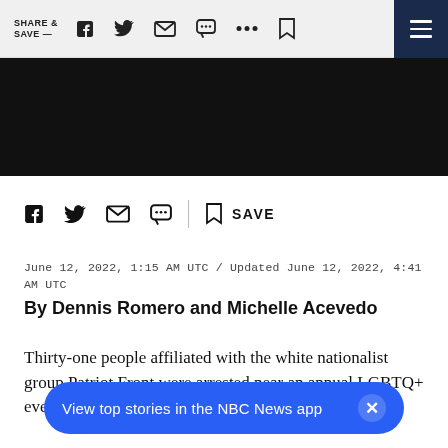SHARE & SAVE —
[Figure (screenshot): Black image/video placeholder bar]
[Figure (screenshot): Social share icons row: Facebook, Twitter, Email, SMS, divider, Bookmark, SAVE]
June 12, 2022, 1:15 AM UTC / Updated June 12, 2022, 4:41 AM UTC
By Dennis Romero and Michelle Acevedo
Thirty-one people affiliated with the white nationalist group Patriot Front were arrested near an annual LGBTQ+ event Saturday in Coeur d'Alene, Idaho, police said
View top stories in the NBC News app